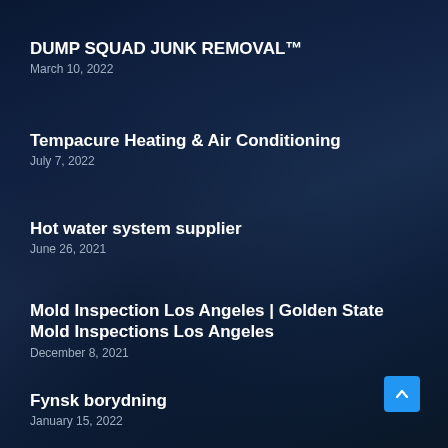DUMP SQUAD JUNK REMOVAL™
March 10, 2022
Tempacure Heating & Air Conditioning
July 7, 2022
Hot water system supplier
June 26, 2021
Mold Inspection Los Angeles | Golden State Mold Inspections Los Angeles
December 8, 2021
Fynsk borydning
January 15, 2022